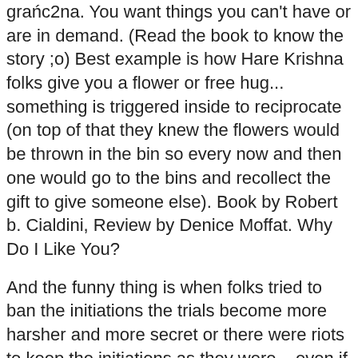grańc2na. You want things you can't have or are in demand. (Read the book to know the story ;o) Best example is how Hare Krishna folks give you a flower or free hug... something is triggered inside to reciprocate (on top of that they knew the flowers would be thrown in the bin so every now and then one would go to the bins and recollect the gift to give someone else). Book by Robert b. Cialdini, Review by Denice Moffat. Why Do I Like You?
And the funny thing is when folks tried to ban the initiations the trials become more harsher and more secret or there were riots to keep the initiations as they were... even if it cost lives or health etc.
– Now you know what adverts are about when you see average Joe or Jane hyping the product. (so it's in his own handwriting as a lasting personal reminder and it can be shown to others). 0000008376 00000 n In our summary of the new fifth edition of Influence: Science and Practice, by Arizona State University